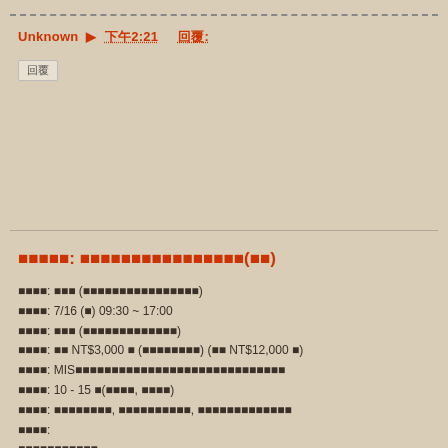Unknown ▶ 下午2:21    回覆:
回覆
課程名稱: 管理資訊系統深度實務工作坊(進階)
授課講師: 許○○ (國立○○大學資訊管理學系教授)
課程時間: 7/16 (二) 09:30 ~ 17:00
上課地點: 台北市 (確認報名後會通知詳細地址)
課程費用: 每人 NT$3,000 元 (含稅開立收據) (原價 NT$12,000 元)
課程對象: MIS相關從業人員、對管理資訊系統有興趣的社會人士或在學學生
招生人數: 10 - 15 人(額滿為止, 依報名順序排序)
課程內容: 資料庫設計與管理, 系統分析與系統設計實作, 企業資訊系統導入與整合應用
學習目標:
掌握資料庫設計核心技術與應用
強化系統分析能力
進階內容(摘要):
深入探討企業資訊系統架構規劃
個案分析與實作演練
系統整合專案實例